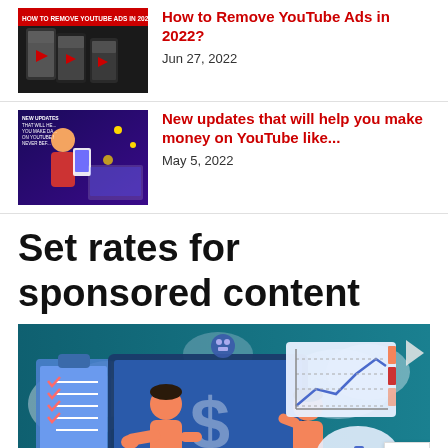[Figure (screenshot): Thumbnail image for YouTube Ads removal article showing phone screens]
How to Remove YouTube Ads in 2022?
Jun 27, 2022
[Figure (screenshot): Thumbnail image for YouTube money-making article showing person with phone]
New updates that will help you make money on YouTube like...
May 5, 2022
Set rates for sponsored content
[Figure (illustration): Illustration of two people discussing money and sponsored content with dollar sign, charts, and checklist on a teal background]